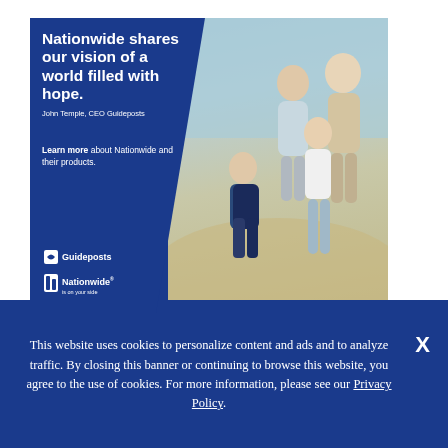[Figure (illustration): Nationwide insurance advertisement showing a family (grandparents and two children) running on a beach. Left side has dark blue background with white bold text: 'Nationwide shares our vision of a world filled with hope.' with attribution 'John Temple, CEO Guideposts'. Below reads 'Learn more about Nationwide and their products.' Guideposts and Nationwide logos at bottom left.]
“It must have fallen off before I got here,” I said to
This website uses cookies to personalize content and ads and to analyze traffic. By closing this banner or continuing to browse this website, you agree to the use of cookies. For more information, please see our Privacy Policy.